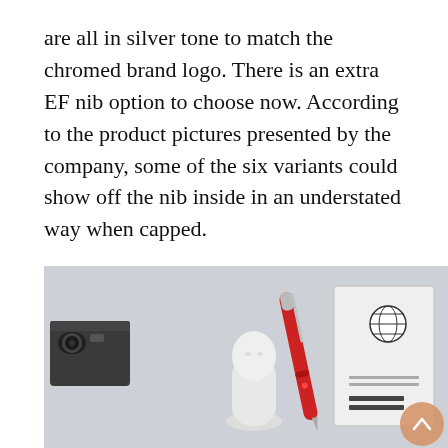are all in silver tone to match the chromed brand logo. There is an extra EF nib option to choose now. According to the product pictures presented by the company, some of the six variants could show off the nib inside in an understated way when capped.

My review units are on the way, hope they work in real life as amazing as their looks.
[Figure (photo): Product lifestyle photo showing a red fountain pen, a small white sculpture bust, a vintage camera, and an 'International Driver License' booklet, arranged on a light grey surface.]